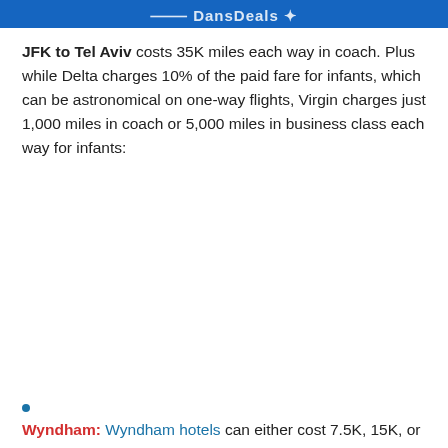DansDeals
JFK to Tel Aviv costs 35K miles each way in coach. Plus while Delta charges 10% of the paid fare for infants, which can be astronomical on one-way flights, Virgin charges just 1,000 miles in coach or 5,000 miles in business class each way for infants:
Wyndham: Wyndham hotels can either cost 7.5K, 15K, or 30K points per night. There are several options in Israel for 15K points, though you may need to call to book with points.